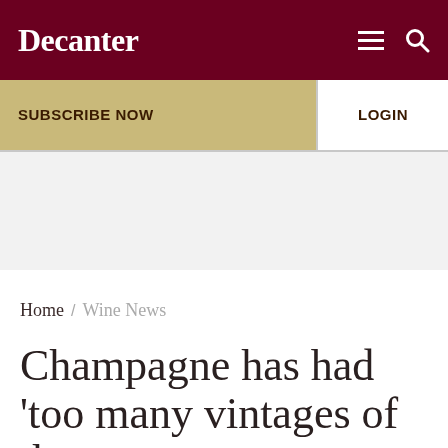Decanter
SUBSCRIBE NOW
LOGIN
[Figure (other): Gray advertisement/banner placeholder area]
Home / Wine News
Champagne has had 'too many vintages of the